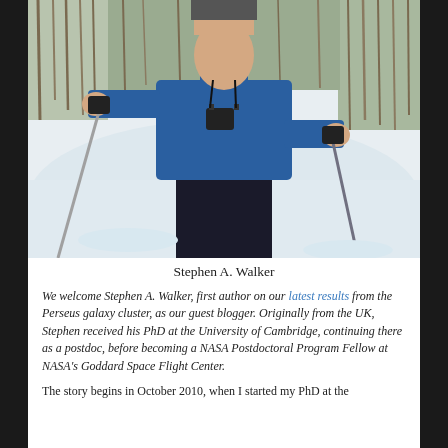[Figure (photo): Photograph of Stephen A. Walker, a person in a blue winter jacket holding ski poles, standing in a snowy outdoor setting with bare trees in the background.]
Stephen A. Walker
We welcome Stephen A. Walker, first author on our latest results from the Perseus galaxy cluster, as our guest blogger. Originally from the UK, Stephen received his PhD at the University of Cambridge, continuing there as a postdoc, before becoming a NASA Postdoctoral Program Fellow at NASA's Goddard Space Flight Center.
The story begins in October 2010, when I started my PhD at the